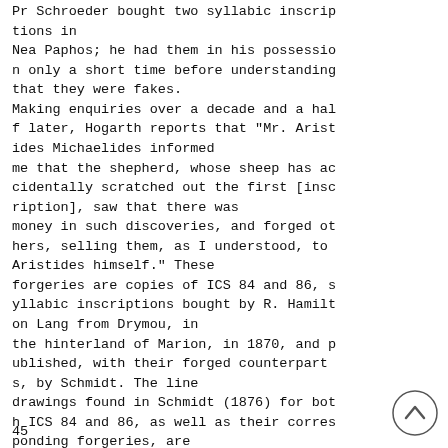Pr Schroeder bought two syllabic inscriptions in Nea Paphos; he had them in his possession only a short time before understanding that they were fakes. Making enquiries over a decade and a half later, Hogarth reports that "Mr. Aristides Michaelides informed me that the shepherd, whose sheep has accidentally scratched out the first [inscription], saw that there was money in such discoveries, and forged others, selling them, as I understood, to Aristides himself." These forgeries are copies of ICS 84 and 86, syllabic inscriptions bought by R. Hamilton Lang from Drymou, in the hinterland of Marion, in 1870, and published, with their forged counterparts, by Schmidt. The line drawings found in Schmidt (1876) for both ICS 84 and 86, as well as their corresponding forgeries, are given in Figures 2-3 below.
45